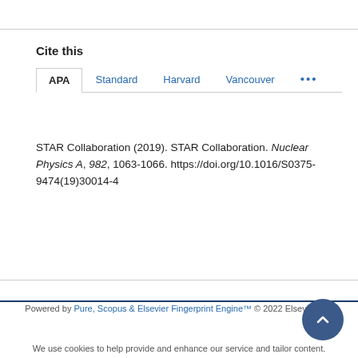Cite this
APA | Standard | Harvard | Vancouver | ...
STAR Collaboration (2019). STAR Collaboration. Nuclear Physics A, 982, 1063-1066. https://doi.org/10.1016/S0375-9474(19)30014-4
Powered by Pure, Scopus & Elsevier Fingerprint Engine™ © 2022 Elsevier B.V
We use cookies to help provide and enhance our service and tailor content.